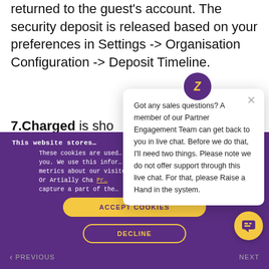returned to the guest's account. The security deposit is released based on your preferences in Settings -> Organisation Configuration -> Deposit Timeline.
7.Charged is sho... of the transaction dec... the deposit in the ba... the Finance bit a... Or Partially Char... capture a part of the...
This website stores... These cookies are used... you interact with our w... you. We use this infor... customize your browsing... metrics about our visitor... media. To find out more a... Privacy...
[Figure (screenshot): Cookie consent banner with purple background, Accept Cookies button (yellow/orange), Decline button (outlined yellow), overlaid on main page content]
[Figure (screenshot): Chat popup from Zendesk showing: Got any sales questions? A member of our Partner Engagement Team can get back to you in live chat. Before we do that, I'll need two things. Please note we do not offer support through this live chat. For that, please Raise a Hand in the system.]
[Figure (other): Yellow circular chat FAB button (floating action button) in bottom right corner]
PREVIOUS
NEXT